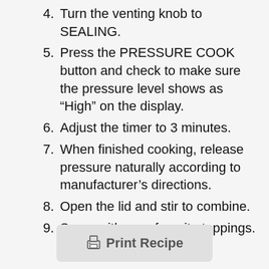4. Turn the venting knob to SEALING.
5. Press the PRESSURE COOK button and check to make sure the pressure level shows as “High” on the display.
6. Adjust the timer to 3 minutes.
7. When finished cooking, release pressure naturally according to manufacturer’s directions.
8. Open the lid and stir to combine.
9. Serve with your favorite toppings.
[Figure (other): Print Recipe button with printer icon]